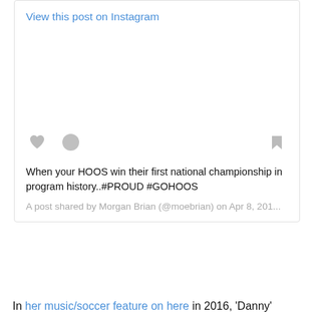[Figure (screenshot): Instagram embed card showing a post by Morgan Brian (@moebrian). Contains a 'View this post on Instagram' link in blue, an empty image area, heart and comment icons on the left, bookmark icon on the right, post text reading 'When your HOOS win their first national championship in program history..#PROUD #GOHOOS', and attribution 'A post shared by Morgan Brian (@moebrian) on Apr 8, 201...']
In her music/soccer feature on here in 2016, 'Danny'